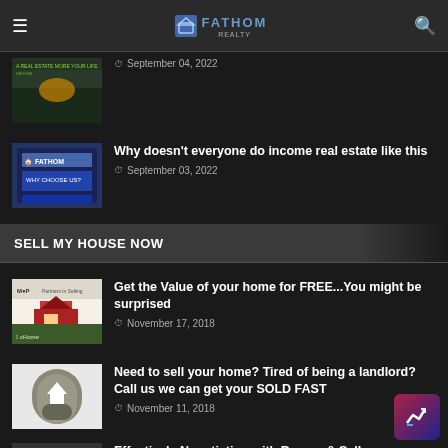FATHOM REALTY
[Figure (screenshot): Thumbnail image of a landscape with sunset]
September 04, 2022
[Figure (screenshot): Fathom Realty Why Choose Us card thumbnail]
Why doesn't everyone do income real estate like this
September 03, 2022
SELL MY HOUSE NOW
[Figure (photo): Small red house model on green background with text Home]
Get the Value of your home for FREE...You might be surprised
November 17, 2018
[Figure (photo): Person holding a small white house model in their hands]
Need to sell your home? Tired of being a landlord? Call us we can get your SOLD FAST
November 11, 2018
[Figure (photo): Partially visible thumbnail for article about negotiating]
Effectively Negotiating with Buyers & Sellers